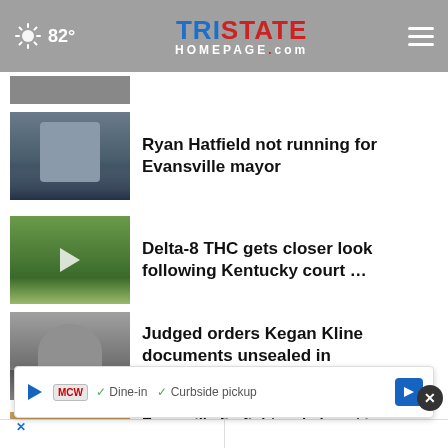82° — Tristate Homepage.com
Ryan Hatfield not running for Evansville mayor
Delta-8 THC gets closer look following Kentucky court …
Judged orders Kegan Kline documents unsealed in 'anthony_shots' …
VCSO: Burglary call turns into domestic incident
Evansville firefighters help out in more ways than …
[Figure (screenshot): Advertisement banner: MCW logo, Dine-in, Curbside pickup, navigation arrow icon, close button]